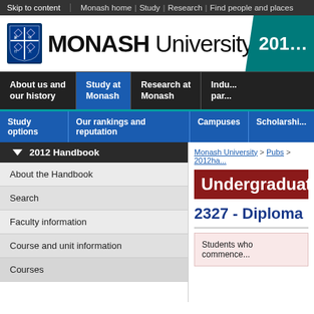Skip to content | Monash home | Study | Research | Find people and places
[Figure (logo): Monash University logo with shield and wordmark, plus teal 2012 year badge]
About us and our history | Study at Monash | Research at Monash | Indu... par...
Study options | Our rankings and reputation | Campuses | Scholarship...
2012 Handbook
About the Handbook
Search
Faculty information
Course and unit information
Courses
Monash University > Pubs > 2012ha...
Undergraduate ...
2327 - Diploma ...
Students who commence...